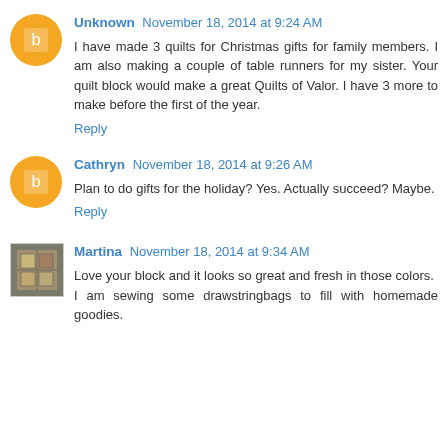Unknown November 18, 2014 at 9:24 AM
I have made 3 quilts for Christmas gifts for family members. I am also making a couple of table runners for my sister. Your quilt block would make a great Quilts of Valor. I have 3 more to make before the first of the year.
Reply
Cathryn November 18, 2014 at 9:26 AM
Plan to do gifts for the holiday? Yes. Actually succeed? Maybe.
Reply
Martina November 18, 2014 at 9:34 AM
Love your block and it looks so great and fresh in those colors.
I am sewing some drawstringbags to fill with homemade goodies.